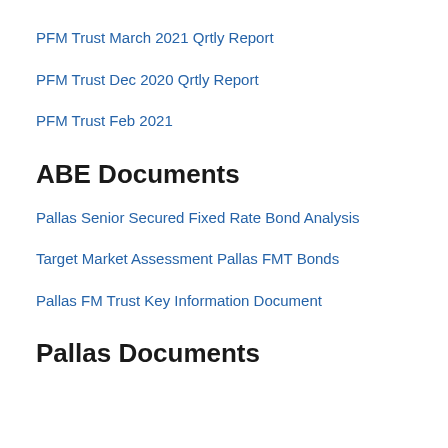PFM Trust March 2021 Qrtly Report
PFM Trust Dec 2020 Qrtly Report
PFM Trust Feb 2021
ABE Documents
Pallas Senior Secured Fixed Rate Bond Analysis
Target Market Assessment Pallas FMT Bonds
Pallas FM Trust Key Information Document
Pallas Documents